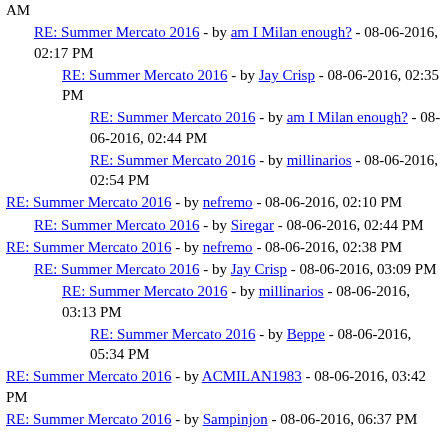AM
RE: Summer Mercato 2016 - by am I Milan enough? - 08-06-2016, 02:17 PM
RE: Summer Mercato 2016 - by Jay Crisp - 08-06-2016, 02:35 PM
RE: Summer Mercato 2016 - by am I Milan enough? - 08-06-2016, 02:44 PM
RE: Summer Mercato 2016 - by millinarios - 08-06-2016, 02:54 PM
RE: Summer Mercato 2016 - by nefremo - 08-06-2016, 02:10 PM
RE: Summer Mercato 2016 - by Siregar - 08-06-2016, 02:44 PM
RE: Summer Mercato 2016 - by nefremo - 08-06-2016, 02:38 PM
RE: Summer Mercato 2016 - by Jay Crisp - 08-06-2016, 03:09 PM
RE: Summer Mercato 2016 - by millinarios - 08-06-2016, 03:13 PM
RE: Summer Mercato 2016 - by Beppe - 08-06-2016, 05:34 PM
RE: Summer Mercato 2016 - by ACMILAN1983 - 08-06-2016, 03:42 PM
RE: Summer Mercato 2016 - by Sampinjon - 08-06-2016, 06:37 PM